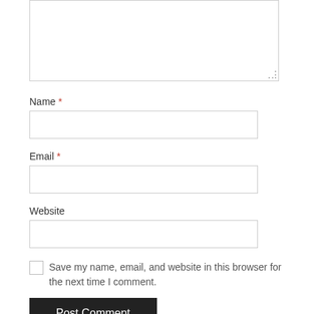[Figure (screenshot): A textarea input field (empty, resizable) for comment input]
Name *
[Figure (screenshot): Name input text field (empty)]
Email *
[Figure (screenshot): Email input text field (empty)]
Website
[Figure (screenshot): Website input text field (empty)]
Save my name, email, and website in this browser for the next time I comment.
[Figure (screenshot): Post Comment button (dark background, white text)]